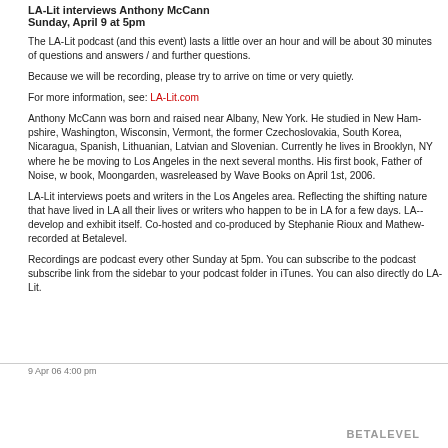LA-Lit interviews Anthony McCann
Sunday, April 9 at 5pm
The LA-Lit podcast (and this event) lasts a little over an hour and will be about 30 minutes of questions and answers / and further questions.
Because we will be recording, please try to arrive on time or very quietly.
For more information, see: LA-Lit.com
Anthony McCann was born and raised near Albany, New York. He studied in New Hampshire, Washington, Wisconsin, Vermont, the former Czechoslovakia, South Korea, Nicaragua, and has translated Spanish, Lithuanian, Latvian and Slovenian. Currently he lives in Brooklyn, NY where he will be moving to Los Angeles in the next several months. His first book, Father of Noise, was... book, Moongarden, wasreleased by Wave Books on April 1st, 2006.
LA-Lit interviews poets and writers in the Los Angeles area. Reflecting the shifting nature of LA literature, that have lived in LA all their lives or writers who happen to be in LA for a few days. LA-... develop and exhibit itself. Co-hosted and co-produced by Stephanie Rioux and Mathew... recorded at Betalevel.
Recordings are podcast every other Sunday at 5pm. You can subscribe to the podcast... subscribe link from the sidebar to your podcast folder in iTunes. You can also directly do... LA-Lit.
9 Apr 06 4:00 pm
BETALEVEL